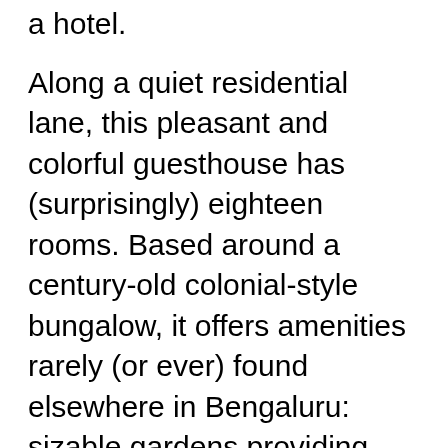a hotel.
Along a quiet residential lane, this pleasant and colorful guesthouse has (surprisingly) eighteen rooms. Based around a century-old colonial-style bungalow, it offers amenities rarely (or ever) found elsewhere in Bengaluru: sizable gardens providing plenty of shade, casual open-air café/bar which is ideal for meeting fellow guests, book exchange, and travel advice. Rooms are pleasingly spacious, many comfortably accommodating at least three guests, and some Studios feature large private porches